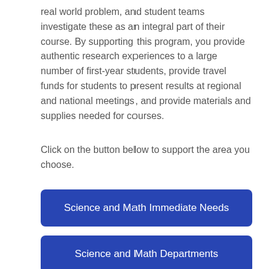real world problem, and student teams investigate these as an integral part of their course. By supporting this program, you provide authentic research experiences to a large number of first-year students, provide travel funds for students to present results at regional and national meetings, and provide materials and supplies needed for courses.
Click on the button below to support the area you choose.
[Figure (other): Blue button labeled 'Science and Math Immediate Needs']
[Figure (other): Blue button labeled 'Science and Math Departments']